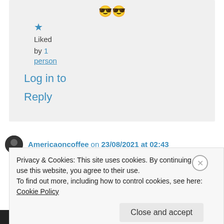[Figure (other): Two smiling face with sunglasses emojis]
★ Liked by 1 person
Log in to Reply
Americaoncoffee on 23/08/2021 at 02:43
Privacy & Cookies: This site uses cookies. By continuing to use this website, you agree to their use.
To find out more, including how to control cookies, see here: Cookie Policy
Close and accept